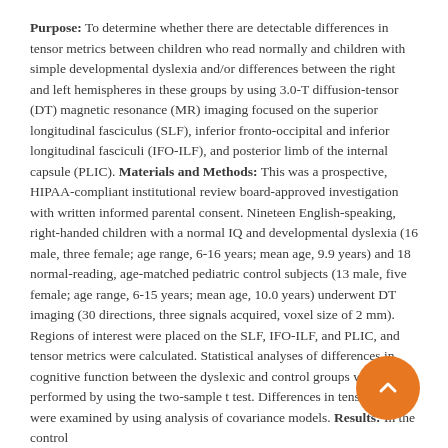Purpose: To determine whether there are detectable differences in tensor metrics between children who read normally and children with simple developmental dyslexia and/or differences between the right and left hemispheres in these groups by using 3.0-T diffusion-tensor (DT) magnetic resonance (MR) imaging focused on the superior longitudinal fasciculus (SLF), inferior fronto-occipital and inferior longitudinal fasciculi (IFO-ILF), and posterior limb of the internal capsule (PLIC). Materials and Methods: This was a prospective, HIPAA-compliant institutional review board-approved investigation with written informed parental consent. Nineteen English-speaking, right-handed children with a normal IQ and developmental dyslexia (16 male, three female; age range, 6-16 years; mean age, 9.9 years) and 18 normal-reading, age-matched pediatric control subjects (13 male, five female; age range, 6-15 years; mean age, 10.0 years) underwent DT imaging (30 directions, three signals acquired, voxel size of 2 mm). Regions of interest were placed on the SLF, IFO-ILF, and PLIC, and tensor metrics were calculated. Statistical analyses of differences in cognitive function between the dyslexic and control groups were performed by using the two-sample t test. Differences in tensor metrics were examined by using analysis of covariance models. Results: In the control